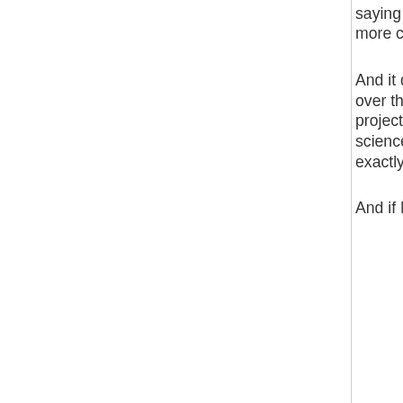saying a 3 GHz Quad core shouldnt be alowed to get more credits then a P II...
And it doesnt matter how much a project improves over the time, and certainly not compared to other project. How you gonna compare or value the science output from 2 totaly different projects? exactly, you cant.
And if MW stock app gets update to a new,